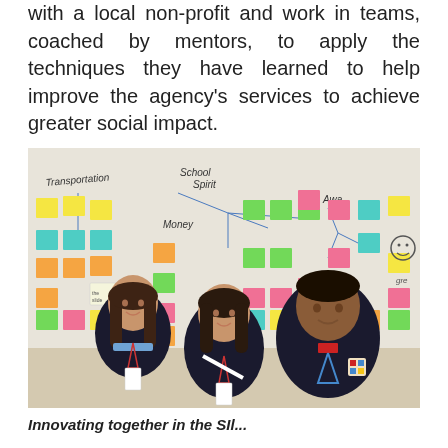with a local non-profit and work in teams, coached by mentors, to apply the techniques they have learned to help improve the agency's services to achieve greater social impact.
[Figure (photo): Three students in navy blazers with lanyards smiling in front of a whiteboard covered with colorful sticky notes organized into a mind-map/diagram with handwritten labels including 'Transportation', 'School Spirit', 'Money', 'Awa'.]
Innovating together in the SIl...